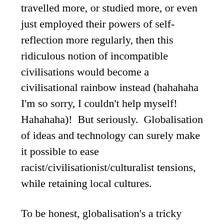travelled more, or studied more, or even just employed their powers of self-reflection more regularly, then this ridiculous notion of incompatible civilisations would become a civilisational rainbow instead (hahahaha I'm so sorry, I couldn't help myself!  Hahahaha)!  But seriously.  Globalisation of ideas and technology can surely make it possible to ease racist/civilisationist/culturalist tensions, while retaining local cultures.
To be honest, globalisation's a tricky issue, with mannnnnnnnny books written about it.  But most of the time, I feel like one of the luckiest people in all of history, as I get to be a citizen of the whole world rather than of just one…